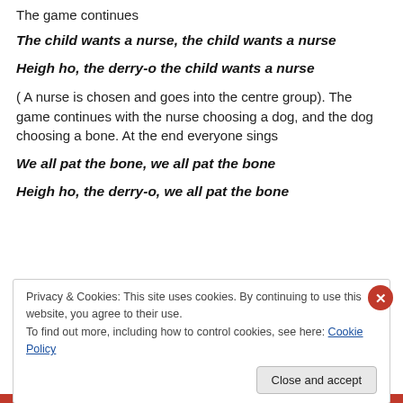The game continues
The child wants a nurse, the child wants a nurse
Heigh ho, the derry-o the child wants a nurse
( A nurse is chosen and goes into the centre group). The game continues with the nurse choosing a dog, and the dog choosing a bone. At the end everyone sings
We all pat the bone, we all pat the bone
Heigh ho, the derry-o, we all pat the bone
Privacy & Cookies: This site uses cookies. By continuing to use this website, you agree to their use.
To find out more, including how to control cookies, see here: Cookie Policy